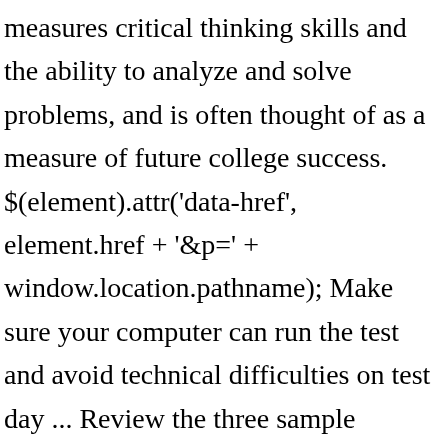measures critical thinking skills and the ability to analyze and solve problems, and is often thought of as a measure of future college success. $(element).attr('data-href', element.href + '&p=' + window.location.pathname); Make sure your computer can run the test and avoid technical difficulties on test day ... Review the three sample scenarios below Get a sense of the types of scenarios that you may be presented with. For the critical reading section, the mathematics section, and the multiple choice part of the writing section,